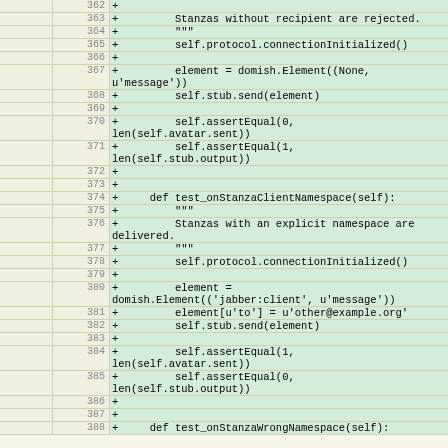| old | new | code |
| --- | --- | --- |
|  | 362 | +  |
|  | 363 | +         Stanzas without recipient are rejected. |
|  | 364 | +         """ |
|  | 365 | +         self.protocol.connectionInitialized() |
|  | 366 | + |
|  | 367 | +         element = domish.Element((None, u'message')) |
|  | 368 | +         self.stub.send(element) |
|  | 369 | + |
|  | 370 | +         self.assertEqual(0, len(self.avatar.sent)) |
|  | 371 | +         self.assertEqual(1, len(self.stub.output)) |
|  | 372 | + |
|  | 373 | + |
|  | 374 | +     def test_onStanzaClientNamespace(self): |
|  | 375 | +         """ |
|  | 376 | +         Stanzas with an explicit namespace are delivered. |
|  | 377 | +         """ |
|  | 378 | +         self.protocol.connectionInitialized() |
|  | 379 | + |
|  | 380 | +         element = domish.Element(('jabber:client', u'message')) |
|  | 381 | +         element[u'to'] = u'other@example.org' |
|  | 382 | +         self.stub.send(element) |
|  | 383 | + |
|  | 384 | +         self.assertEqual(1, len(self.avatar.sent)) |
|  | 385 | +         self.assertEqual(0, len(self.stub.output)) |
|  | 386 | + |
|  | 387 | + |
|  | 388 | +     def test_onStanzaWrongNamespace(self): |